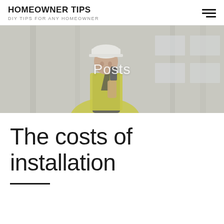HOMEOWNER TIPS
DIY TIPS FOR ANY HOMEOWNER
[Figure (photo): A construction worker wearing a white hard hat and yellow high-visibility vest, holding a walkie-talkie radio to his mouth, standing in a concrete building interior. Text overlay reads 'Posts'.]
The costs of installation